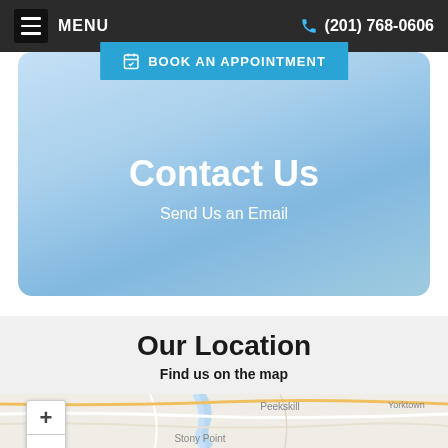MENU | (201) 768-0606
BOOK AN APPOINTMENT
Contact Us
Send Us an Email
Our Location
Find us on the map
[Figure (map): Street map showing Peekskill, Stony Point, and Yorktown area with zoom controls (+/-) visible on the left side]